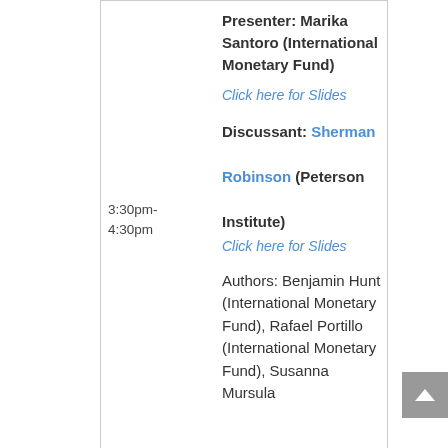Presenter: Marika Santoro (International Monetary Fund)
Click here for Slides
3:30pm-4:30pm
Discussant: Sherman Robinson (Peterson Institute)
Click here for Slides
Authors: Benjamin Hunt (International Monetary Fund), Rafael Portillo (International Monetary Fund), Susanna Mursula